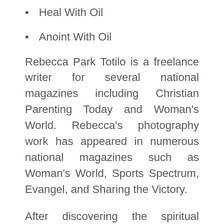Heal With Oil
Anoint With Oil
Rebecca Park Totilo is a freelance writer for several national magazines including Christian Parenting Today and Woman's World. Rebecca's photography work has appeared in numerous national magazines such as Woman's World, Sports Spectrum, Evangel, and Sharing the Victory.
After discovering the spiritual significance of the fragrances in the bible, she began to look further into the healing properties of essential oils. After writing, Therapeutic Blending With Essential Oil, she knew others needed to know about their wonderful healing benefits.